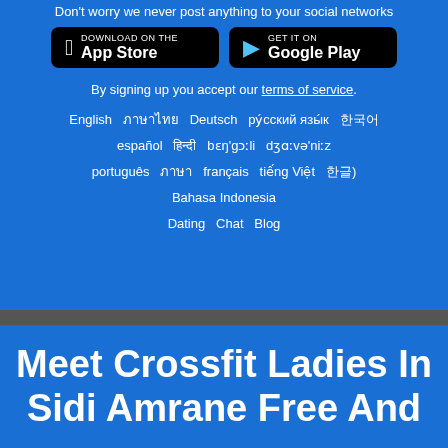Don't worry we never post anything to your social networks
[Figure (screenshot): App Store and Google Play download buttons on dark background]
By signing up you accept our terms of service.
English  ภาษาไทย  Deutsch  ру́сский язы́к  한국어  español  हिन्दी  bɛŋ'gɔːli  dʒɑːvə'niːz  português  ภาษา  français  tiếng Việt  한글)  Bahasa Indonesia  Dating  Chat  Blog
Meet Crossfit Ladies In Sidi Amrane Free And